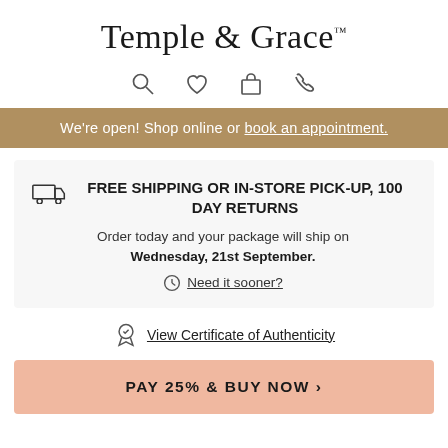Temple & Grace™
[Figure (infographic): Four outline icons: magnifying glass (search), heart (wishlist), shopping bag, telephone handset]
We're open! Shop online or book an appointment.
FREE SHIPPING OR IN-STORE PICK-UP, 100 DAY RETURNS
Order today and your package will ship on Wednesday, 21st September.
Need it sooner?
View Certificate of Authenticity
PAY 25% & BUY NOW ›